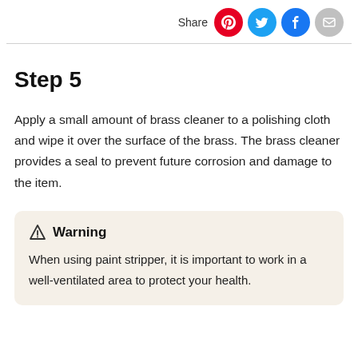Share
Step 5
Apply a small amount of brass cleaner to a polishing cloth and wipe it over the surface of the brass. The brass cleaner provides a seal to prevent future corrosion and damage to the item.
Warning
When using paint stripper, it is important to work in a well-ventilated area to protect your health.